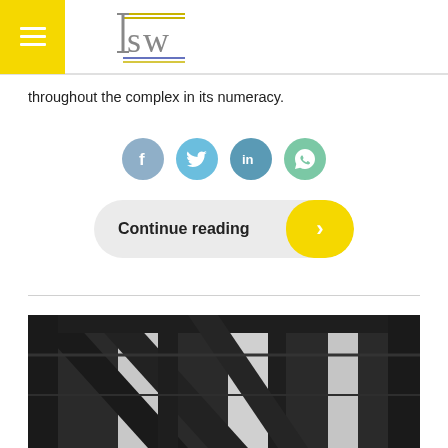ISW logo and hamburger menu
throughout the complex in its numeracy.
[Figure (infographic): Social share buttons: Facebook (blue-grey circle with f), Twitter (light blue circle with bird icon), LinkedIn (teal circle with 'in'), WhatsApp (green circle with phone icon)]
[Figure (infographic): Continue reading button: grey pill-shaped button with bold text 'Continue reading' and yellow rounded right section with white chevron arrow]
[Figure (photo): Close-up photo of dark steel/metal structural beams or framework, industrial construction detail]